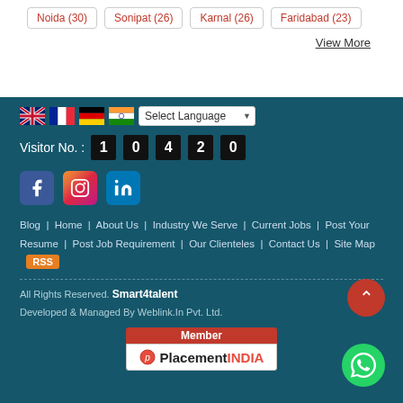Noida (30) | Sonipat (26) | Karnal (26) | Faridabad (23)
View More
[Figure (screenshot): Website footer with language selector (UK, France, Germany, India flags), visitor counter showing 10420, social media icons (Facebook, Instagram, LinkedIn), navigation links, RSS badge, copyright notice, and PlacementINDIA member badge]
Visitor No. : 1 0 4 2 0
Blog | Home | About Us | Industry We Serve | Current Jobs | Post Your Resume | Post Job Requirement | Our Clienteles | Contact Us | Site Map RSS
All Rights Reserved. Smart4talent
Developed & Managed By Weblink.In Pvt. Ltd.
[Figure (logo): PlacementINDIA member badge with logo]